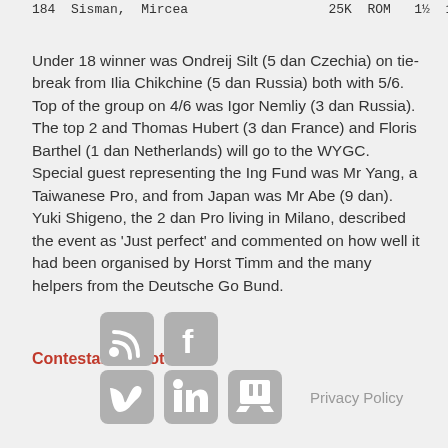184 Sisman, Mircea   25K ROM 1½ 172-  4
Under 18 winner was Ondreij Silt (5 dan Czechia) on tie-break from Ilia Chikchine (5 dan Russia) both with 5/6. Top of the group on 4/6 was Igor Nemliy (3 dan Russia). The top 2 and Thomas Hubert (3 dan France) and Floris Barthel (1 dan Netherlands) will go to the WYGC.
Special guest representing the Ing Fund was Mr Yang, a Taiwanese Pro, and from Japan was Mr Abe (9 dan).
Yuki Shigeno, the 2 dan Pro living in Milano, described the event as 'Just perfect' and commented on how well it had been organised by Horst Timm and the many helpers from the Deutsche Go Bund.
Contestants Photo
[Figure (other): Social media icons: RSS feed, Facebook, Vimeo, LinkedIn, Twitch arranged in two rows. Privacy Policy link to the right.]